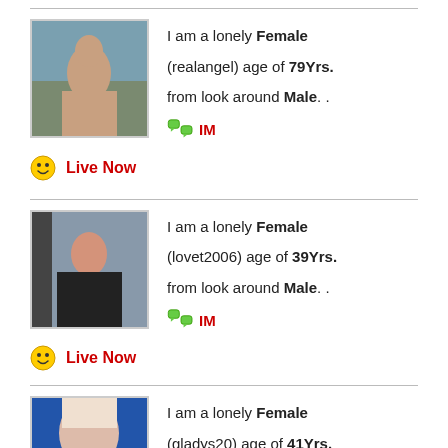I am a lonely Female (realangel) age of 79Yrs. from look around Male. . IM Live Now
I am a lonely Female (lovet2006) age of 39Yrs. from look around Male. . IM Live Now
I am a lonely Female (gladys20) age of 41Yrs.